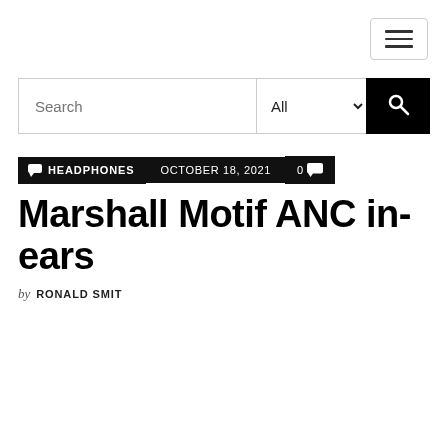Navigation menu button
Search | All | Search button
📢 HEADPHONES  OCTOBER 18, 2021  0 💬
Marshall Motif ANC in-ears
by RONALD SMIT